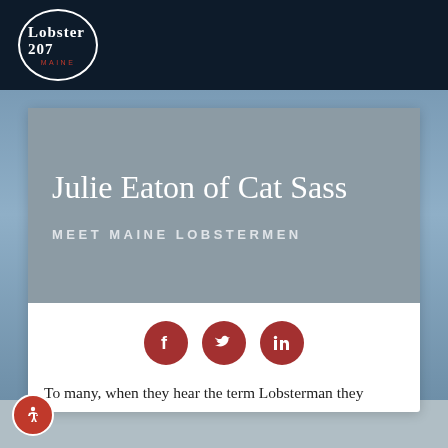Lobster 207 MAINE
[Figure (illustration): Gray card with large white serif text reading 'Julie Eaton of Cat Sass' and below it smaller uppercase sans-serif text 'MEET MAINE LOBSTERMEN']
[Figure (infographic): Three dark red circular social media icons: Facebook, Twitter, LinkedIn]
To many, when they hear the term Lobsterman they